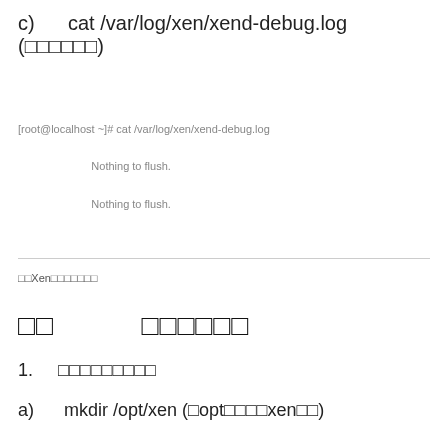c)	 cat /var/log/xen/xend-debug.log (□□□□□□)
[root@localhost ~]# cat /var/log/xen/xend-debug.log
Nothing to flush.
Nothing to flush.
□□Xen□□□□□□□
□□　　□□□□□□
1.　□□□□□□□□□
a)　mkdir /opt/xen (□opt□□□□xen□□)